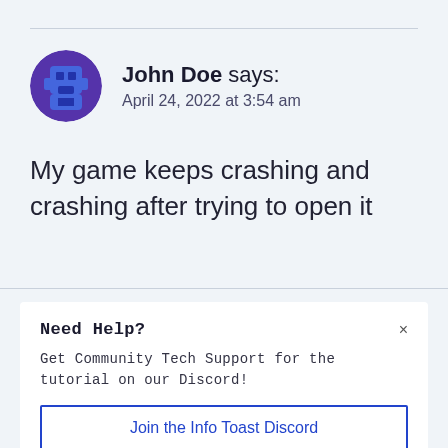John Doe says:
April 24, 2022 at 3:54 am
My game keeps crashing and crashing after trying to open it
Need Help?
Get Community Tech Support for the tutorial on our Discord!
Join the Info Toast Discord